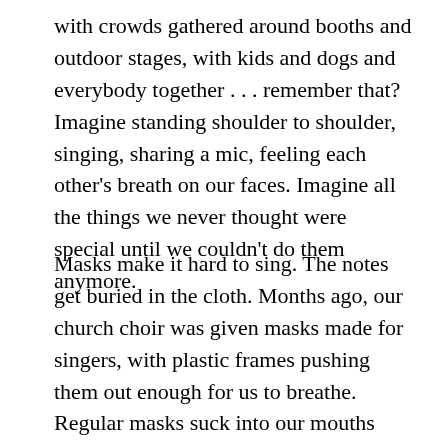with crowds gathered around booths and outdoor stages, with kids and dogs and everybody together . . . remember that? Imagine standing shoulder to shoulder, singing, sharing a mic, feeling each other's breath on our faces. Imagine all the things we never thought were special until we couldn't do them anymore.
Masks make it hard to sing. The notes get buried in the cloth. Months ago, our church choir was given masks made for singers, with plastic frames pushing them out enough for us to breathe. Regular masks suck into our mouths when we inhale and trap the air we exhale. Soon we're choking. This is better. Not